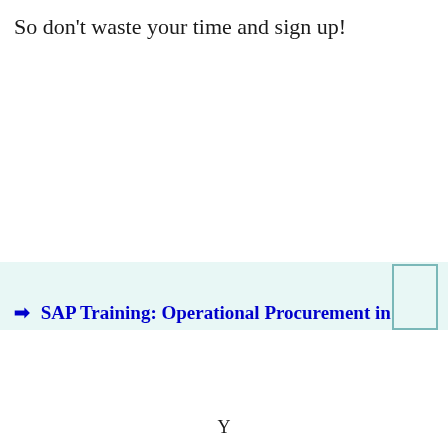So don't waste your time and sign up!
[Figure (other): Light teal/mint banner area with a rectangular outlined box on the right side and blue bold text partially visible at the bottom reading: SAP Training: Operational Procurement in]
Y